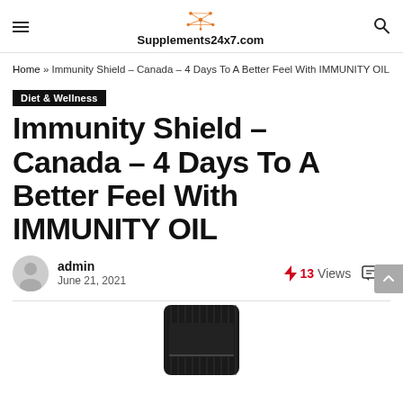Supplements24x7.com
Home » Immunity Shield – Canada – 4 Days To A Better Feel With IMMUNITY OIL
Diet & Wellness
Immunity Shield – Canada – 4 Days To A Better Feel With IMMUNITY OIL
admin
June 21, 2021
13 Views
0
[Figure (photo): Product photo — dark cylindrical bottle of Immunity Oil, partially visible at the bottom of the page]